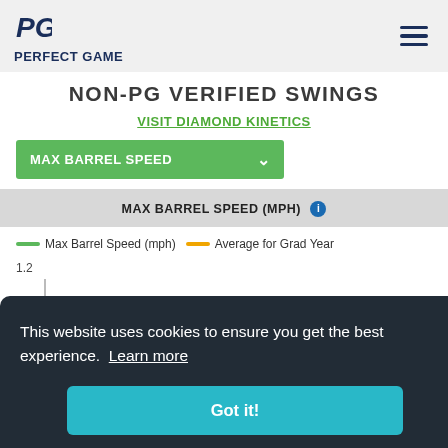PERFECT GAME
NON-PG VERIFIED SWINGS
VISIT DIAMOND KINETICS
MAX BARREL SPEED
MAX BARREL SPEED (MPH)
[Figure (line-chart): Line chart showing Max Barrel Speed (mph) and Average for Grad Year. Y-axis label 1.2 visible. Chart partially obscured by cookie consent banner.]
This website uses cookies to ensure you get the best experience. Learn more
Got it!